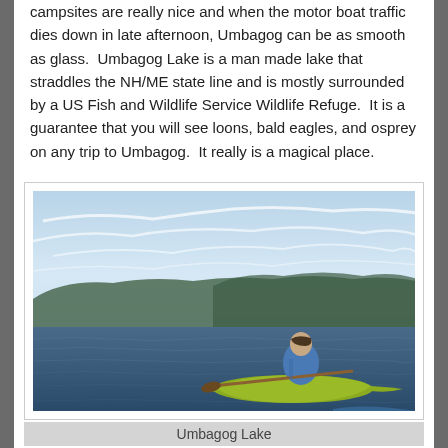campsites are really nice and when the motor boat traffic dies down in late afternoon, Umbagog can be as smooth as glass.  Umbagog Lake is a man made lake that straddles the NH/ME state line and is mostly surrounded by a US Fish and Wildlife Service Wildlife Refuge.  It is a guarantee that you will see loons, bald eagles, and osprey on any trip to Umbagog.  It really is a magical place.
[Figure (photo): A person kayaking on Umbagog Lake with calm waters, forested hills in the background, and a partly cloudy sky. The kayaker is wearing a blue life vest and sitting in a yellow-green kayak viewed from behind.]
Umbagog Lake